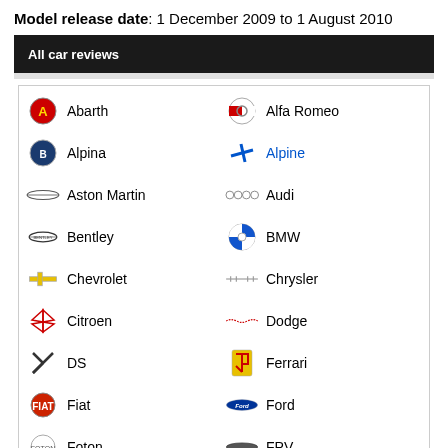Model release date: 1 December 2009 to 1 August 2010
All car reviews
Abarth
Alfa Romeo
Alpina
Alpine
Aston Martin
Audi
Bentley
BMW
Chevrolet
Chrysler
Citroen
Dodge
DS
Ferrari
Fiat
Ford
Foton
FPV
Great Wall
Haval
Holden
Honda
HSV
Hummer
Hyundai
Infiniti
Isuzu
Jaguar